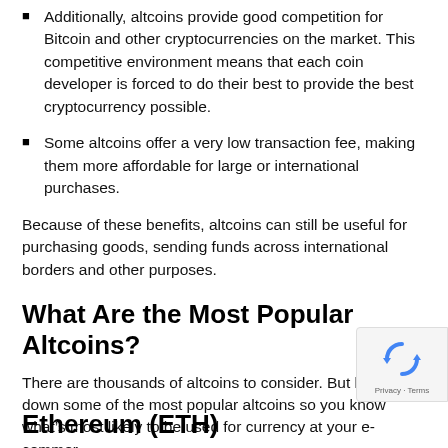Additionally, altcoins provide good competition for Bitcoin and other cryptocurrencies on the market. This competitive environment means that each coin developer is forced to do their best to provide the best cryptocurrency possible.
Some altcoins offer a very low transaction fee, making them more affordable for large or international purchases.
Because of these benefits, altcoins can still be useful for purchasing goods, sending funds across international borders and other purposes.
What Are the Most Popular Altcoins?
There are thousands of altcoins to consider. But let's break down some of the most popular altcoins so you know what's most likely to be used for currency at your e-commer
Ethereum (ETH)